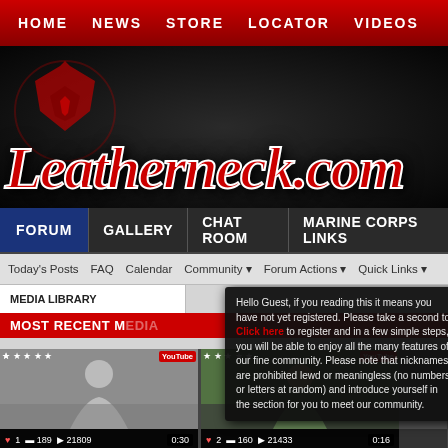HOME | NEWS | STORE | LOCATOR | VIDEOS
[Figure (screenshot): Leatherneck.com website header with Marine Corps logo and large red italic logo text]
FORUM | GALLERY | CHAT ROOM | MARINE CORPS LINKS
Today's Posts  FAQ  Calendar  Community  Forum Actions  Quick Links
Hello Guest, if you reading this it means you have not yet registered. Please take a second to Click here to register and in a few simple steps, you will be able to enjoy all the many features of our fine community. Please note that nicknames are prohibited lewd or meaningless (no numbers or letters at random) and introduce yourself in the section for you to meet our community.
MEDIA LIBRARY
MOST RECENT MEDIA
[Figure (screenshot): Video thumbnail 1 - black and white person video, 5 stars, YouTube badge, 1 heart, 189 comments, 21809 views, 0:30 duration]
[Figure (screenshot): Video thumbnail 2 - color video of person, 5 stars, YouTube badge, 2 hearts, 160 comments, 21433 views, 0:16 duration]